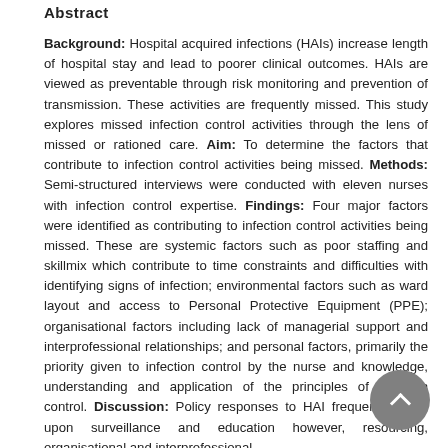Abstract
Background: Hospital acquired infections (HAIs) increase length of hospital stay and lead to poorer clinical outcomes. HAIs are viewed as preventable through risk monitoring and prevention of transmission. These activities are frequently missed. This study explores missed infection control activities through the lens of missed or rationed care. Aim: To determine the factors that contribute to infection control activities being missed. Methods: Semi-structured interviews were conducted with eleven nurses with infection control expertise. Findings: Four major factors were identified as contributing to infection control activities being missed. These are systemic factors such as poor staffing and skillmix which contribute to time constraints and difficulties with identifying signs of infection; environmental factors such as ward layout and access to Personal Protective Equipment (PPE); organisational factors including lack of managerial support and interprofessional relationships; and personal factors, primarily the priority given to infection control by the nurse and knowledge, understanding and application of the principles of infection control. Discussion: Policy responses to HAI frequently focus upon surveillance and education however, resourcing, organisational and interprofessional